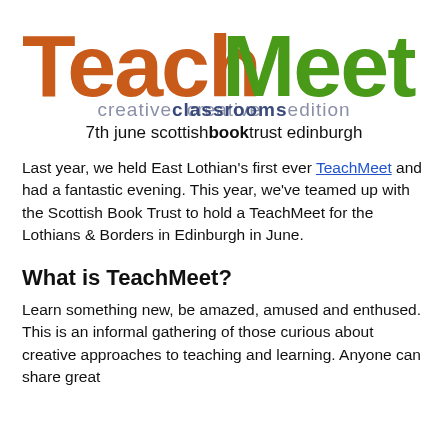[Figure (logo): TeachMeet logo in large hand-drawn style font. 'Teach' in orange/brown, 'Meet' in green. Below: 'creativeclassroomsedition' subtitle and '7th june scottishbooktrust edinburgh' line.]
Last year, we held East Lothian's first ever TeachMeet and had a fantastic evening. This year, we've teamed up with the Scottish Book Trust to hold a TeachMeet for the Lothians & Borders in Edinburgh in June.
What is TeachMeet?
Learn something new, be amazed, amused and enthused. This is an informal gathering of those curious about creative approaches to teaching and learning. Anyone can share great